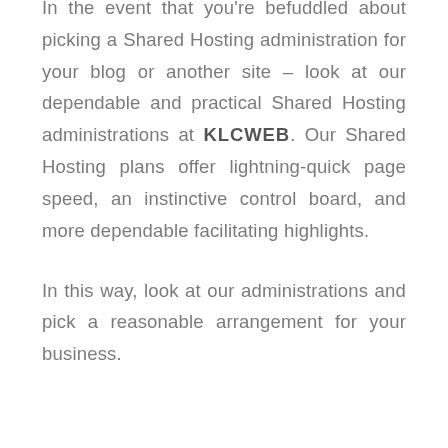In the event that you're befuddled about picking a Shared Hosting administration for your blog or another site – look at our dependable and practical Shared Hosting administrations at KLCWEB. Our Shared Hosting plans offer lightning-quick page speed, an instinctive control board, and more dependable facilitating highlights.
In this way, look at our administrations and pick a reasonable arrangement for your business.